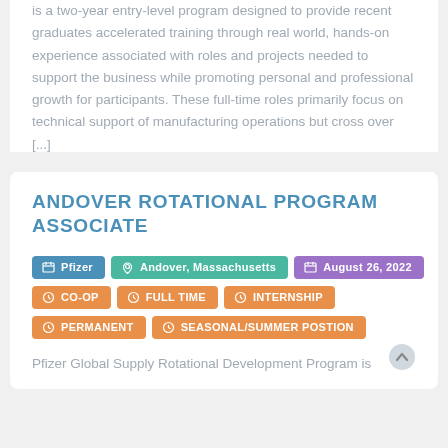is a two-year entry-level program designed to provide recent graduates accelerated training through real world, hands-on experience associated with roles and projects needed to support the business while promoting personal and professional growth for participants. These full-time roles primarily focus on technical support of manufacturing operations but cross over [...]
ANDOVER ROTATIONAL PROGRAM ASSOCIATE
Pfizer | Andover, Massachusetts | August 26, 2022
CO-OP  FULL TIME  INTERNSHIP
PERMANENT  SEASONAL/SUMMER POSTION
Pfizer Global Supply Rotational Development Program is